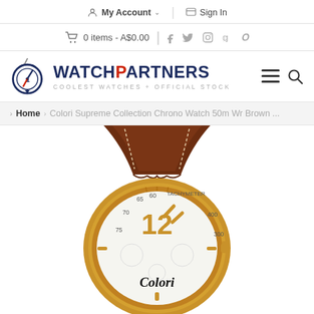My Account  |  Sign In
0 items - A$0.00  |  (social icons)
[Figure (logo): WatchPartners logo: circular navy blue watch icon with stylized hand/pointer; text WATCHPARTNERS in bold navy, with red P; tagline COOLEST WATCHES + OFFICIAL STOCK]
Home > Colori Supreme Collection Chrono Watch 50m Wr Brown ...
[Figure (photo): Product photo of a Colori chronograph watch with gold case, brown leather strap with white stitching, white dial showing tachymeter bezel with numbers 60, 65, 70, 75, 400, 300, and the number 12 in gold, with Colori script branding on the dial]